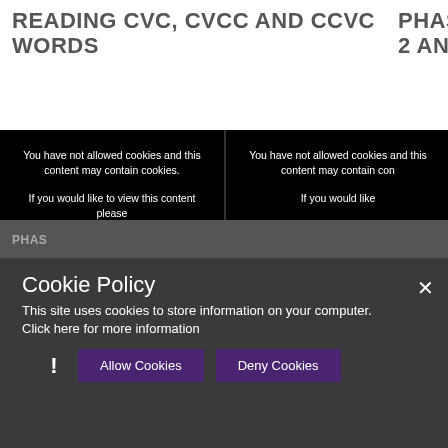READING CVC, CVCC AND CCVC WORDS
PHASES 2 AND
[Figure (screenshot): Black video embed panel with cookie consent message: 'You have not allowed cookies and this content may contain cookies. If you would like to view this content please' with buttons 'Allow Cookies' and 'Cookie Settings']
[Figure (screenshot): Black video embed panel (right, partially cropped) with cookie consent message: 'You have not allowed cookies and this content may contain cookies. If you would like to view this content please' with button 'Allow Cookies']
Cookie Policy
This site uses cookies to store information on your computer. Click here for more information
Allow Cookies  Deny Cookies